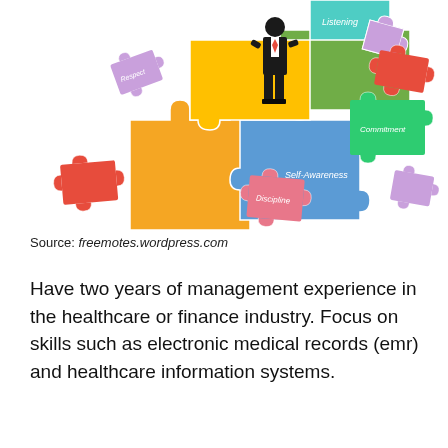[Figure (illustration): A colorful puzzle pieces illustration with a businessman figure standing on assembled puzzle pieces labeled: Listening (teal), Commitment (green), Self-Awareness (blue), Discipline (pink/red). Additional scattered puzzle pieces in red, purple around the edges.]
Source: freemotes.wordpress.com
Have two years of management experience in the healthcare or finance industry. Focus on skills such as electronic medical records (emr) and healthcare information systems.